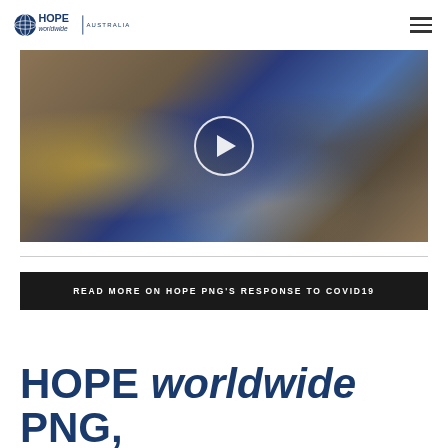HOPE worldwide AUSTRALIA
[Figure (photo): Video thumbnail showing people in a clinic/waiting area setting in PNG. A person in a blue top is visible from behind, and people are seated on benches in the background. A white circular play button overlay is centered on the image.]
READ MORE ON HOPE PNG'S RESPONSE TO COVID19
HOPE worldwide PNG,